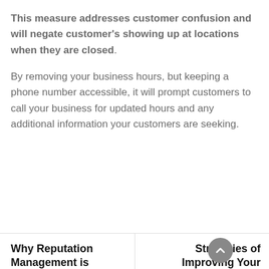This measure addresses customer confusion and will negate customer's showing up at locations when they are closed.
By removing your business hours, but keeping a phone number accessible, it will prompt customers to call your business for updated hours and any additional information your customers are seeking.
Why Reputation Management is
Strategies of Improving Your